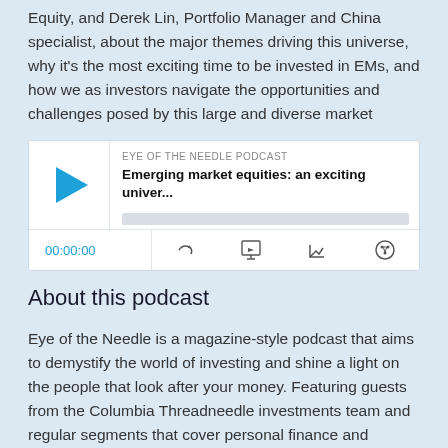Equity, and Derek Lin, Portfolio Manager and China specialist, about the major themes driving this universe, why it's the most exciting time to be invested in EMs, and how we as investors navigate the opportunities and challenges posed by this large and diverse market
[Figure (other): Embedded podcast player widget for 'Eye of the Needle Podcast' episode titled 'Emerging market equities: an exciting univer...' with play button, progress bar, time display showing 00:00:00, and control icons for RSS feed, download, embed, and share.]
About this podcast
Eye of the Needle is a magazine-style podcast that aims to demystify the world of investing and shine a light on the people that look after your money. Featuring guests from the Columbia Threadneedle investments team and regular segments that cover personal finance and investing, Eye of the Needle is a must-listen for anyone